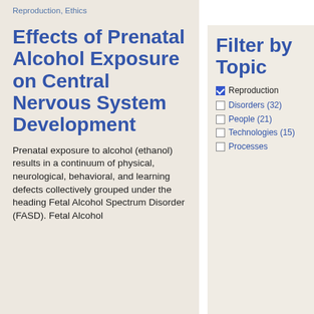Reproduction, Ethics
Effects of Prenatal Alcohol Exposure on Central Nervous System Development
Prenatal exposure to alcohol (ethanol) results in a continuum of physical, neurological, behavioral, and learning defects collectively grouped under the heading Fetal Alcohol Spectrum Disorder (FASD). Fetal Alcohol
Filter by Topic
Reproduction (checked)
Disorders (32)
People (21)
Technologies (15)
Processes